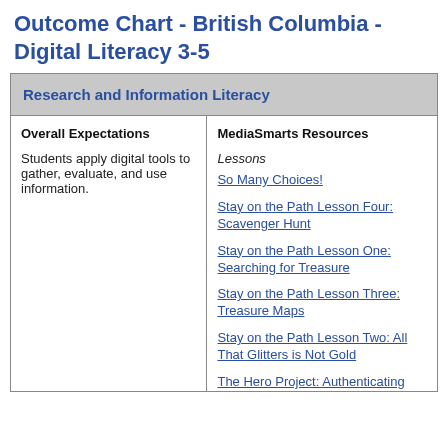Outcome Chart - British Columbia - Digital Literacy 3-5
| Overall Expectations | MediaSmarts Resources |
| --- | --- |
| Students apply digital tools to gather, evaluate, and use information. | Lessons
So Many Choices!
Stay on the Path Lesson Four: Scavenger Hunt
Stay on the Path Lesson One: Searching for Treasure
Stay on the Path Lesson Three: Treasure Maps
Stay on the Path Lesson Two: All That Glitters is Not Gold
The Hero Project: Authenticating |